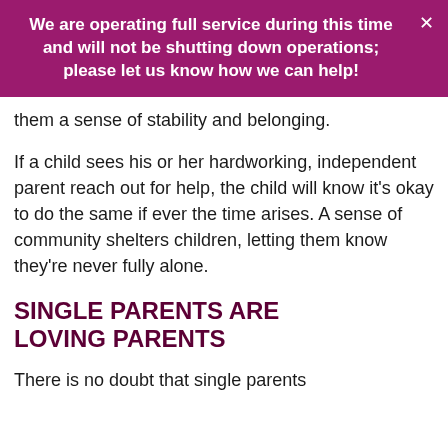We are operating full service during this time and will not be shutting down operations; please let us know how we can help!
them a sense of stability and belonging.
If a child sees his or her hardworking, independent parent reach out for help, the child will know it’s okay to do the same if ever the time arises. A sense of community shelters children, letting them know they’re never fully alone.
SINGLE PARENTS ARE LOVING PARENTS
There is no doubt that single parents